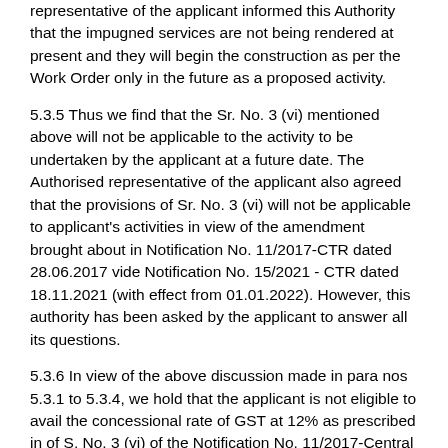representative of the applicant informed this Authority that the impugned services are not being rendered at present and they will begin the construction as per the Work Order only in the future as a proposed activity.
5.3.5 Thus we find that the Sr. No. 3 (vi) mentioned above will not be applicable to the activity to be undertaken by the applicant at a future date. The Authorised representative of the applicant also agreed that the provisions of Sr. No. 3 (vi) will not be applicable to applicant's activities in view of the amendment brought about in Notification No. 11/2017-CTR dated 28.06.2017 vide Notification No. 15/2021 - CTR dated 18.11.2021 (with effect from 01.01.2022). However, this authority has been asked by the applicant to answer all its questions.
5.3.6 In view of the above discussion made in para nos 5.3.1 to 5.3.4, we hold that the applicant is not eligible to avail the concessional rate of GST at 12% as prescribed in of S. No. 3 (vi) of the Notification No. 11/2017-Central Tax (Rate) dated 28.06.2017 for the impugned construction services provided by them to UPRNN.
5.4.1 The...